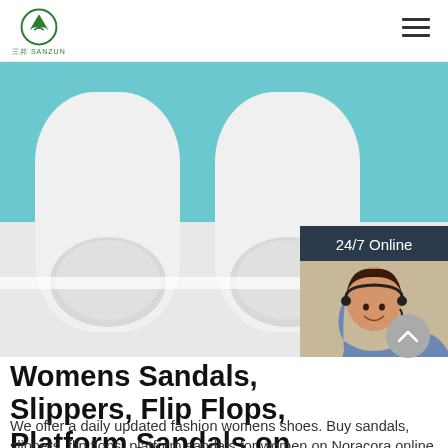三邦 SANZUN
[Figure (photo): Two white hotel/spa slippers against a teal/blue background, shown from above with a customer service agent photo overlay on the right side showing 24/7 Online chat widget]
Womens Sandals, Slippers, Flip Flops, Platform Sandals on ...
We offer a daily updated fashion womens shoes. Buy sandals, slippers, flip flops, platform sandals for women on Noracora online shop in great low prices. You'll enjoy the best online